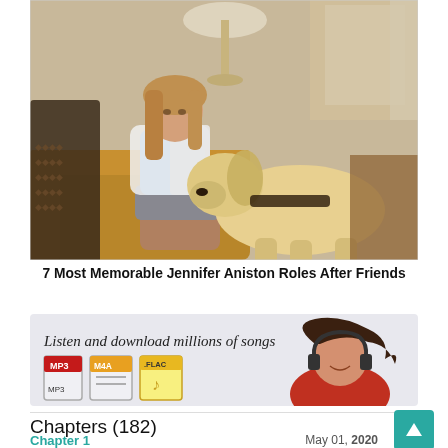[Figure (photo): Woman sitting on a sofa with a yellow Labrador dog nuzzling her hand in a cozy living room interior setting]
7 Most Memorable Jennifer Aniston Roles After Friends
[Figure (infographic): Advertisement banner: Listen and download millions of songs, showing MP3, M4A, and FLAC file format icons and a woman with headphones]
Chapters (182)
Chapter 1
May 01, 2020